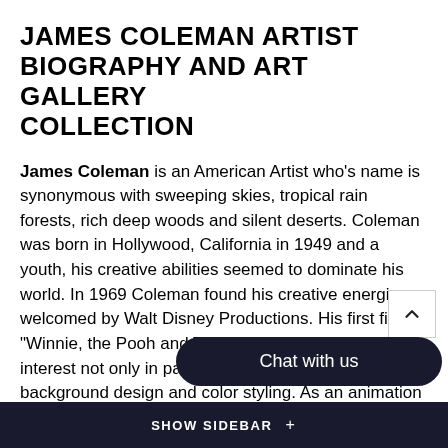JAMES COLEMAN ARTIST BIOGRAPHY AND ART GALLERY COLLECTION
James Coleman is an American Artist who's name is synonymous with sweeping skies, tropical rain forests, rich deep woods and silent deserts. Coleman was born in Hollywood, California in 1949 and a youth, his creative abilities seemed to dominate his world. In 1969 Coleman found his creative energies welcomed by Walt Disney Productions. His first film, "Winnie, the Pooh and Tigger, Too", sparked his interest not only in painting backgrounds but also in background design and color styling. As an animation background designer, while at Disney Studios, James Coleman styled and worked on twelve films and over thirty short subjects which included "Mickey's Christmas Carol","The Fox and the Hound", "The Great Mouse Detective", "The Black Cauldron", "The … and Academy Award-winning, "Beauty and … ie
SHOW SIDEBAR +